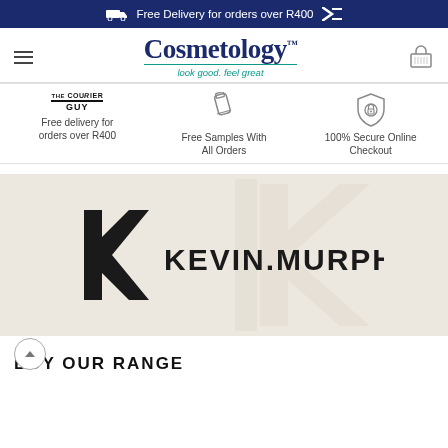Free Delivery for orders over R400
[Figure (logo): Cosmetology logo with tagline 'look good. feel great']
Free delivery for orders over R400
Free Samples With All Orders
100% Secure Online Checkout
[Figure (logo): Kevin Murphy brand banner with large stylized K logo on beige/cream background]
BUY OUR RANGE